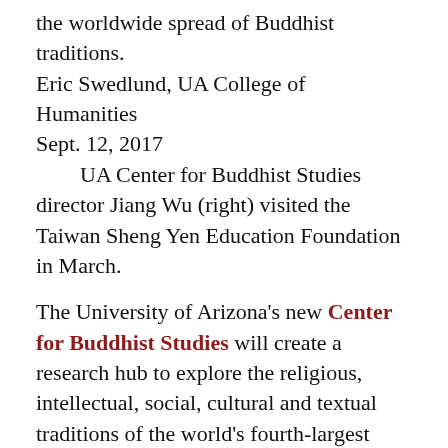the worldwide spread of Buddhist traditions.
Eric Swedlund, UA College of Humanities
Sept. 12, 2017
    UA Center for Buddhist Studies director Jiang Wu (right) visited the Taiwan Sheng Yen Education Foundation in March.
The University of Arizona's new Center for Buddhist Studies will create a research hub to explore the religious, intellectual, social, cultural and textual traditions of the world's fourth-largest faith.
With Buddhist traditions becoming more familiar and practitioners growing more common in the U.S., the UA will draw on existing faculty